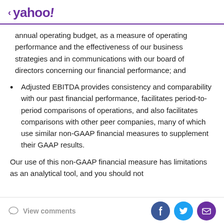< yahoo!
annual operating budget, as a measure of operating performance and the effectiveness of our business strategies and in communications with our board of directors concerning our financial performance; and
Adjusted EBITDA provides consistency and comparability with our past financial performance, facilitates period-to-period comparisons of operations, and also facilitates comparisons with other peer companies, many of which use similar non-GAAP financial measures to supplement their GAAP results.
Our use of this non-GAAP financial measure has limitations as an analytical tool, and you should not
View comments